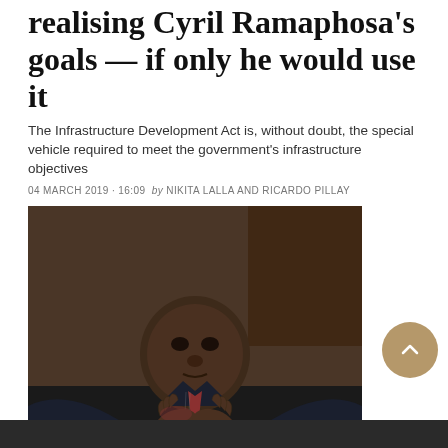realising Cyril Ramaphosa's goals — if only he would use it
The Infrastructure Development Act is, without doubt, the special vehicle required to meet the government's infrastructure objectives
04 MARCH 2019 · 16:09  by NIKITA LALLA AND RICARDO PILLAY
[Figure (photo): Portrait photo of Cyril Ramaphosa in a dark suit, hands clasped together in a prayer-like gesture, looking directly at the camera with a serious expression]